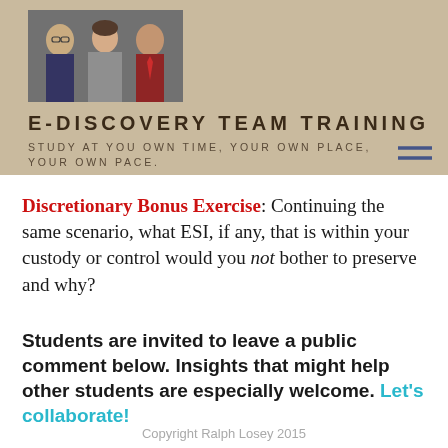[Figure (photo): Header photo showing three people (two men and a woman) in professional attire at what appears to be a conference or panel setting]
E-DISCOVERY TEAM TRAINING
STUDY AT YOU OWN TIME, YOUR OWN PLACE, YOUR OWN PACE.
Discretionary Bonus Exercise: Continuing the same scenario, what ESI, if any, that is within your custody or control would you not bother to preserve and why?
Students are invited to leave a public comment below. Insights that might help other students are especially welcome. Let's collaborate!
Copyright Ralph Losey 2015